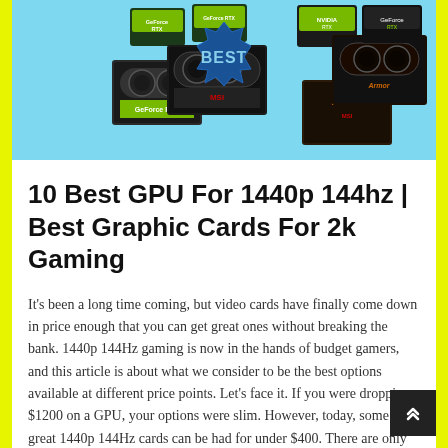[Figure (photo): Hero image showing multiple GPU graphics cards (NVIDIA RTX series and MSI Armor) arranged on a light blue background with a blue 'BEST' badge in the center]
10 Best GPU For 1440p 144hz | Best Graphic Cards For 2k Gaming
It's been a long time coming, but video cards have finally come down in price enough that you can get great ones without breaking the bank. 1440p 144Hz gaming is now in the hands of budget gamers, and this article is about what we consider to be the best options available at different price points. Let's face it. If you were dropping $1200 on a GPU, your options were slim. However, today, some great 1440p 144Hz cards can be had for under $400. There are only two of them